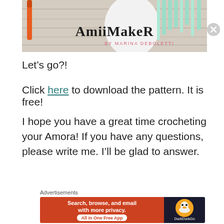[Figure (photo): Photo of crochet amigurumi figure with orange crochet hook on wooden background, with 'AmiiMaker by Marina Deboletti' text/logo overlay]
Let's go?!
Click here to download the pattern. It is free!
I hope you have a great time crocheting your Amora! If you have any questions, please write me. I'll be glad to answer.
Advertisements
[Figure (screenshot): DuckDuckGo advertisement banner: 'Search, browse, and email with more privacy. All in One Free App' with DuckDuckGo logo on dark background]